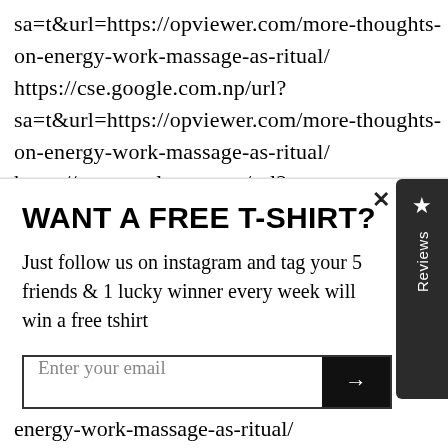sa=t&url=https://opviewer.com/more-thoughts-on-energy-work-massage-as-ritual/ https://cse.google.com.np/url?sa=t&url=https://opviewer.com/more-thoughts-on-energy-work-massage-as-ritual/ https://cse.google.com.ng/url?
WANT A FREE T-SHIRT?
Just follow us on instagram and tag your 5 friends & 1 lucky winner every week will win a free tshirt
Enter your email
Check ourInstagram
energy-work-massage-as-ritual/